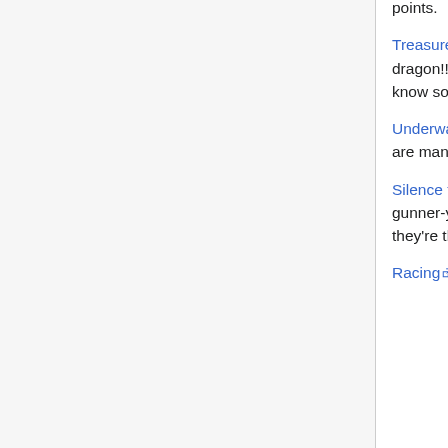points.
Treasure Quest [external link] by John Lobato -- Help the Knight get the treasure, but beware the dragon!!! He mysteriously disappears and reappears. Perhaps a little too unfair?? Let me know so I can change as users see fit. Make sure to follow the directions!
Underwater Adventure [external link] by Kevin Parker -- Try to find the treasure! But be careful, there are many dangers underneath the ocean.
Silence the Gunner [external link] by Josh Nevas -- Silence on the gunner as he taunts you with gunner-y comments ("Transaction costs!"). Click on the other law students to see what they're thinking. Snicker at my sad, sad programming skills.
Racing [external link] by Logan Schiff. This is a basic